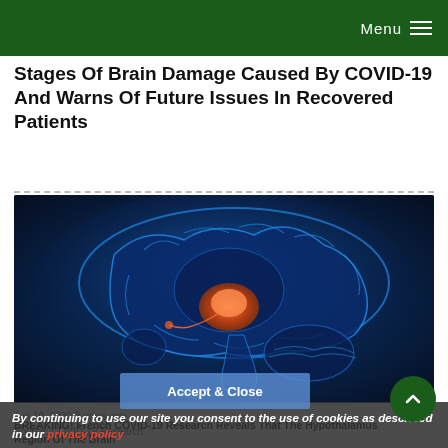Menu
Stages Of Brain Damage Caused By COVID-19 And Warns Of Future Issues In Recovered Patients
[Figure (photo): 3D medical illustration of a human brain cross-section shown in glowing blue tones with the hypothalamus region highlighted in orange/red, on a dark blue background.]
Jun 10, 2020  2 years ago
Source: COVID-19 Research
By continuing to use our site you consent to the use of cookies as described in our privacy policy
BREAKING! French COVID-19 Research Reveals That The Hypothalamus Region Of The Brain